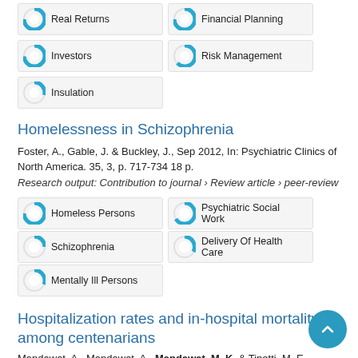Real Returns
Financial Planning
Investors
Risk Management
Insulation
Homelessness in Schizophrenia
Foster, A., Gable, J. & Buckley, J., Sep 2012, In: Psychiatric Clinics of North America. 35, 3, p. 717-734 18 p.
Research output: Contribution to journal › Review article › peer-review
Homeless Persons
Psychiatric Social Work
Schizophrenia
Delivery Of Health Care
Mentally Ill Persons
Hospitalization rates and in-hospital mortality among centenarians
Mandawat, A., Mandawat, A., Mandawat, M. K. & Tinetti, M. E.,